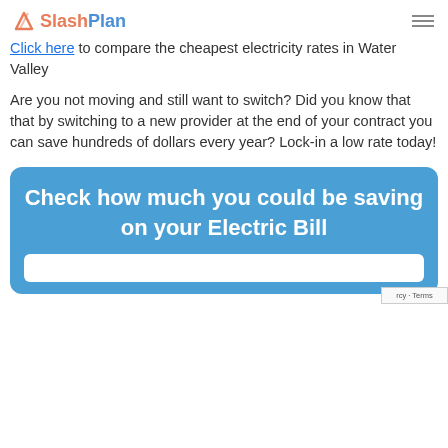[Figure (logo): SlashPlan logo with orange/red slash icon and blue 'Plan' text]
Click here to compare the cheapest electricity rates in Water Valley
Are you not moving and still want to switch? Did you know that that by switching to a new provider at the end of your contract you can save hundreds of dollars every year? Lock-in a low rate today!
Check how much you could be saving on your Electric Bill